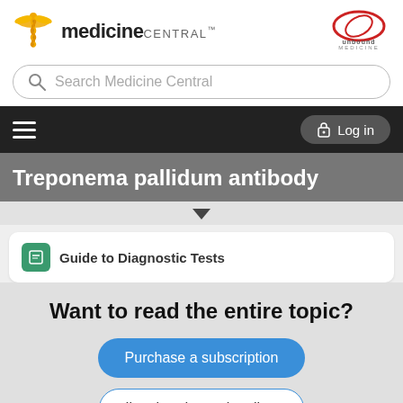[Figure (logo): Medicine Central logo with caduceus symbol on left and Unbound Medicine logo on right]
[Figure (screenshot): Search bar with text 'Search Medicine Central']
[Figure (screenshot): Navigation bar with hamburger menu and Log in button]
Treponema pallidum antibody
[Figure (screenshot): Dropdown arrow indicator and partially visible card for Guide to Diagnostic Tests]
Want to read the entire topic?
Purchase a subscription
I'm already a subscriber
Browse sample topics